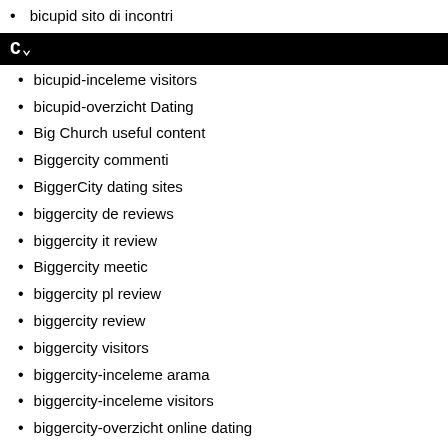bicupid sito di incontri
C~
bicupid-inceleme visitors
bicupid-overzicht Dating
Big Church useful content
Biggercity commenti
BiggerCity dating sites
biggercity de reviews
biggercity it review
Biggercity meetic
biggercity pl review
biggercity review
biggercity visitors
biggercity-inceleme arama
biggercity-inceleme visitors
biggercity-overzicht online dating
biggercity-recenze Reddit
biggercity-recenze VyhledГŸvГŸnГ
Biker Dating Apps reddit
Biker Dating conseils pour un
Biker Dating hookup
Biker Dating Sites online
Biker Dating Sites site
Biker Dating Sites username